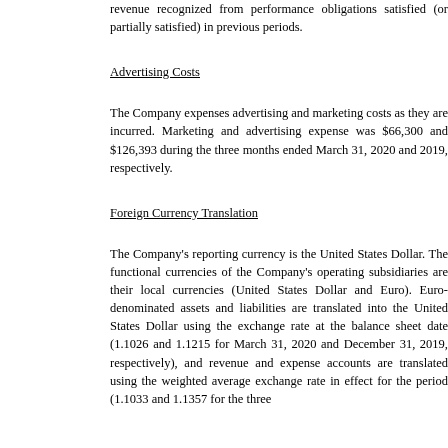revenue recognized from performance obligations satisfied (or partially satisfied) in previous periods.
Advertising Costs
The Company expenses advertising and marketing costs as they are incurred. Marketing and advertising expense was $66,300 and $126,393 during the three months ended March 31, 2020 and 2019, respectively.
Foreign Currency Translation
The Company's reporting currency is the United States Dollar. The functional currencies of the Company's operating subsidiaries are their local currencies (United States Dollar and Euro). Euro-denominated assets and liabilities are translated into the United States Dollar using the exchange rate at the balance sheet date (1.1026 and 1.1215 for March 31, 2020 and December 31, 2019, respectively), and revenue and expense accounts are translated using the weighted average exchange rate in effect for the period (1.1033 and 1.1357 for the three